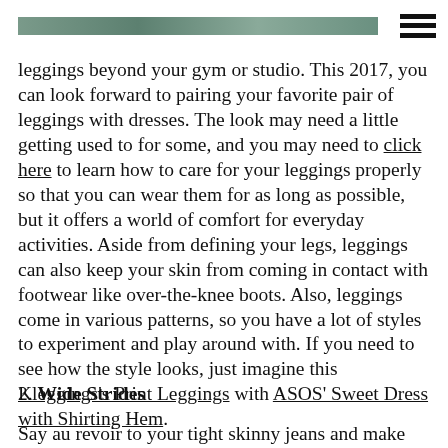[header image bar with hamburger menu]
leggings beyond your gym or studio. This 2017, you can look forward to pairing your favorite pair of leggings with dresses. The look may need a little getting used to for some, and you may need to click here to learn how to care for your leggings properly so that you can wear them for as long as possible, but it offers a world of comfort for everyday activities. Aside from defining your legs, leggings can also keep your skin from coming in contact with footwear like over-the-knee boots. Also, leggings come in various patterns, so you have a lot of styles to experiment and play around with. If you need to see how the style looks, just imagine this Kleggings's Print Leggings with ASOS' Sweet Dress with Shirting Hem.
2. Wide Strides
Say au revoir to your tight skinny jeans and make room